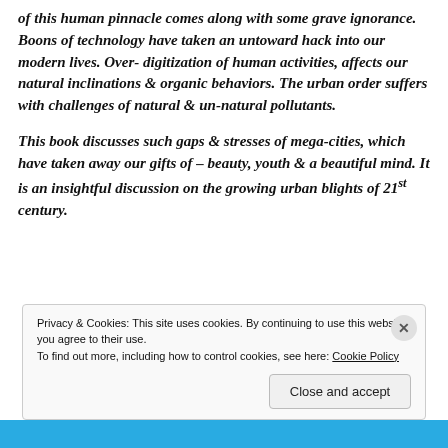of this human pinnacle comes along with some grave ignorance. Boons of technology have taken an untoward hack into our modern lives. Over- digitization of human activities, affects our natural inclinations & organic behaviors. The urban order suffers with challenges of natural & un-natural pollutants.
This book discusses such gaps & stresses of mega-cities, which have taken away our gifts of – beauty, youth & a beautiful mind. It is an insightful discussion on the growing urban blights of 21st century.
Privacy & Cookies: This site uses cookies. By continuing to use this website, you agree to their use. To find out more, including how to control cookies, see here: Cookie Policy